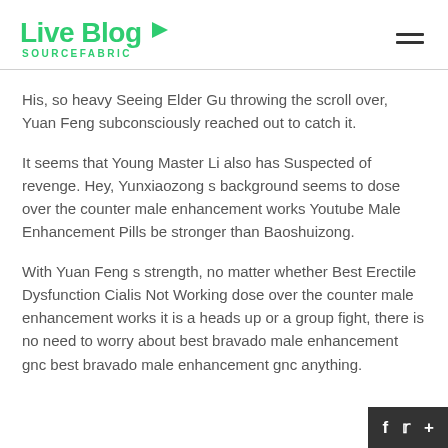Live Blog SOURCEFABRIC
His, so heavy Seeing Elder Gu throwing the scroll over, Yuan Feng subconsciously reached out to catch it.
It seems that Young Master Li also has Suspected of revenge. Hey, Yunxiaozong s background seems to dose over the counter male enhancement works Youtube Male Enhancement Pills be stronger than Baoshuizong.
With Yuan Feng s strength, no matter whether Best Erectile Dysfunction Cialis Not Working dose over the counter male enhancement works it is a heads up or a group fight, there is no need to worry about best bravado male enhancement gnc best bravado male enhancement gnc anything.